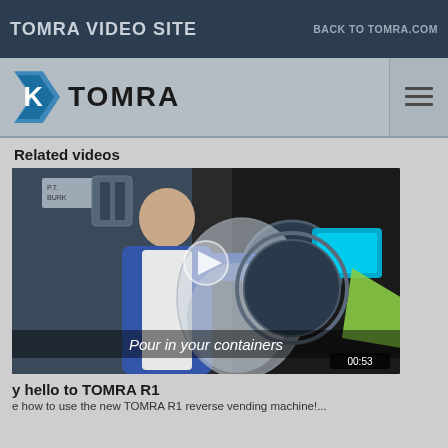TOMRA VIDEO SITE
BACK TO TOMRA.COM
[Figure (logo): TOMRA logo with teal/blue K-arrow icon and bold TOMRA text]
Related videos
[Figure (screenshot): Video thumbnail showing a man in blue jacket holding a plastic bag of containers at a TOMRA R1 reverse vending machine. Text overlay reads 'Pour in your containers'. Duration shown: 00:53. Play button visible in center.]
y hello to TOMRA R1
e how to use the new TOMRA R1 reverse vending machine!...